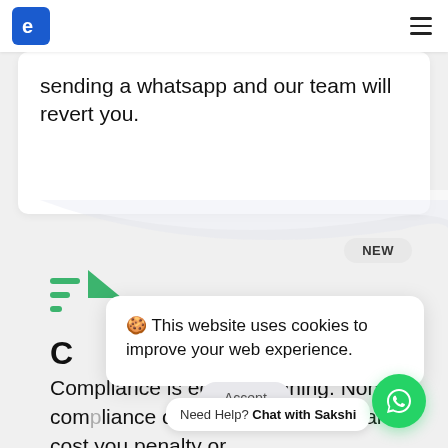sending a whatsapp and our team will revert you.
NEW
🍪 This website uses cookies to improve your web experience.
C
Compliance is equ... planning. Non compliance or delay compliance can cost you penalty or